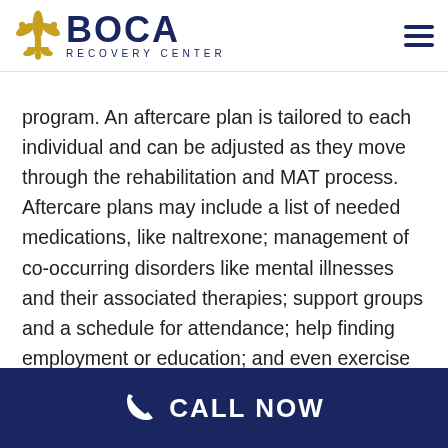BOCA Recovery Center
program. An aftercare plan is tailored to each individual and can be adjusted as they move through the rehabilitation and MAT process. Aftercare plans may include a list of needed medications, like naltrexone; management of co-occurring disorders like mental illnesses and their associated therapies; support groups and a schedule for attendance; help finding employment or education; and even exercise routines, meal planning, and new hobbies or social events to support ongoing sobriety.
CALL NOW